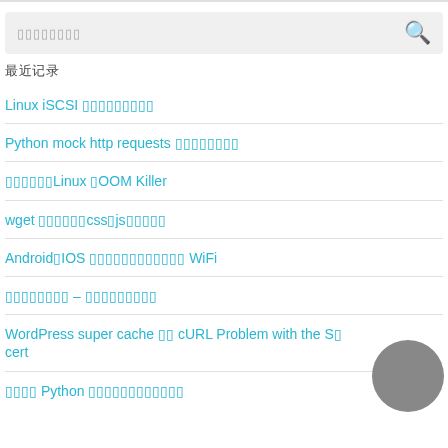[Figure (other): Search input box with placeholder text (CJK characters) and a magnifying glass search icon on the right]
最近记录
Linux iSCSI 挂载的那些事
Python mock http requests 的那些事
关于理解Linux 的OOM Killer
wget 下载整站css、js等静态文件
Android、IOS 手机连不上企业内网 WiFi
系统时间同步 – 你需要知道的
WordPress super cache 和 cURL Problem with the SSL cert
使用 Python 绘制精美数据图表的方法